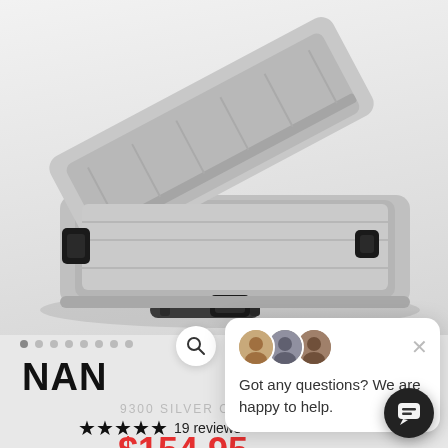[Figure (photo): Silver/grey hard-shell protective case (NANUK style) open lid, shown from front-left angle with black latches and handle, on light grey background]
NAN
9300 SILVER ONE
★★★★★ 19 reviews
$154.95
Got any questions? We are happy to help.